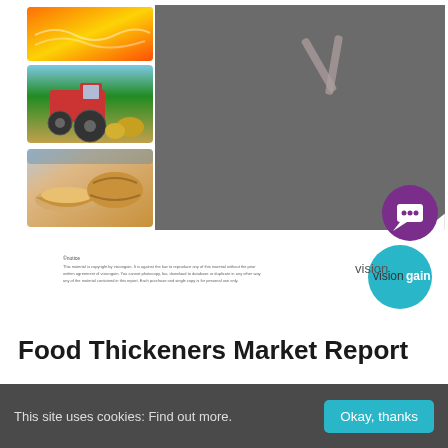[Figure (illustration): Market report cover page preview showing food and agriculture images (fire/grain, tractor in field, bread and bowl), a dark rounded swoosh graphic on the right, a purple chat bubble icon, and the Visiongain logo at bottom right with copyright disclaimer text.]
Food Thickeners Market Report
This site uses cookies: Find out more.
Okay, thanks